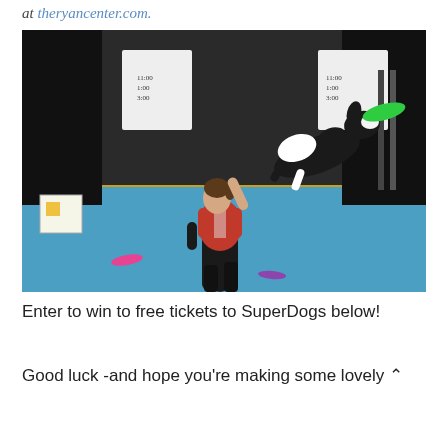at theryancenter.com.
[Figure (photo): A performer in a red and black vest tosses a black and white dog into the air to catch a green frisbee, on a blue floor mat in an indoor arena with dark curtains in the background.]
Enter to win to free tickets to SuperDogs below!
Good luck -and hope you're making some lovely ^